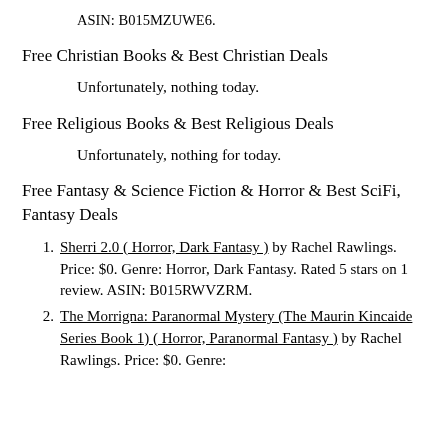ASIN: B015MZUWE6.
Free Christian Books & Best Christian Deals
Unfortunately, nothing today.
Free Religious Books & Best Religious Deals
Unfortunately, nothing for today.
Free Fantasy & Science Fiction & Horror & Best SciFi, Fantasy Deals
Sherri 2.0 ( Horror, Dark Fantasy ) by Rachel Rawlings. Price: $0. Genre: Horror, Dark Fantasy. Rated 5 stars on 1 review. ASIN: B015RWVZRM.
The Morrigna: Paranormal Mystery (The Maurin Kincaide Series Book 1) ( Horror, Paranormal Fantasy ) by Rachel Rawlings. Price: $0. Genre: